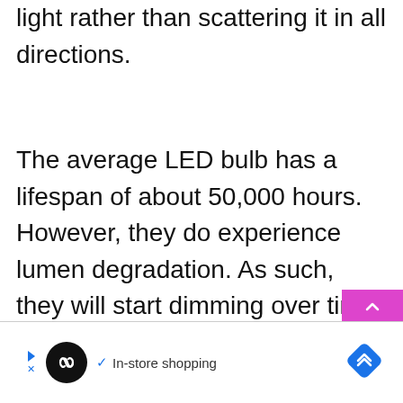light rather than scattering it in all directions.
The average LED bulb has a lifespan of about 50,000 hours. However, they do experience lumen degradation. As such, they will start dimming over time. This is a slow process, and you will not need to replace them for many years.
[Figure (other): Advertisement banner with a circular black logo with infinity-like symbol, a blue play arrow and X close button, checkmark with 'In-store shopping' text, and a blue diamond-shaped navigation icon on the right.]